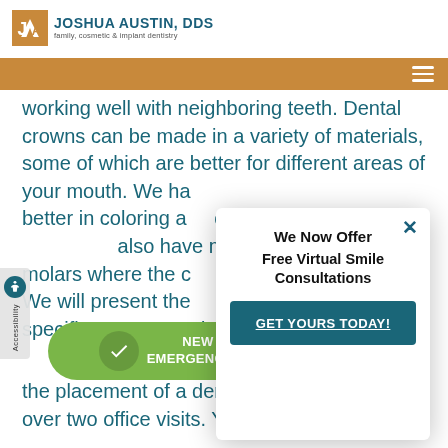[Figure (logo): Joshua Austin DDS family, cosmetic & implant dentistry logo with orange J-A monogram]
working well with neighboring teeth. Dental crowns can be made in a variety of materials, some of which are better for different areas of your mouth. We ha... better in coloring a... other teeth for te... also have materials... molars where the c... We will present the... their benefits specific to your needs.
We Now Offer Free Virtual Smile Consultations
GET YOURS TODAY!
NEW PATIENTS & EMERGENCIES BOOK NOW!
the placement of a dental crown is completed over two office visits. Your first office visit may